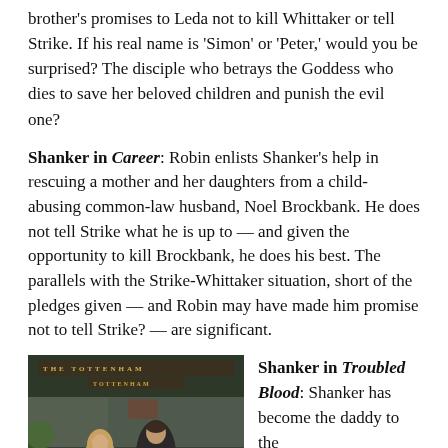brother's promises to Leda not to kill Whittaker or tell Strike. If his real name is 'Simon' or 'Peter,' would you be surprised? The disciple who betrays the Goddess who dies to save her beloved children and punish the evil one?
Shanker in Career: Robin enlists Shanker's help in rescuing a mother and her daughters from a child-abusing common-law husband, Noel Brockbank. He does not tell Strike what he is up to — and given the opportunity to kill Brockbank, he does his best. The parallels with the Strike-Whittaker situation, short of the pledges given — and Robin may have made him promise not to tell Strike? — are significant.
[Figure (photo): Photo of two people (a woman with long blonde hair and a man in a dark jacket) standing in front of a pub with 'The Tottenham' signage visible.]
Shanker in Troubled Blood: Shanker has become the daddy to the